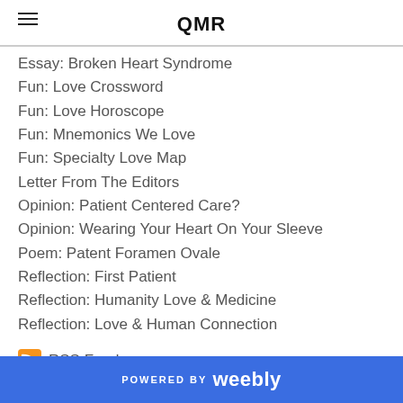QMR
Essay: Broken Heart Syndrome
Fun: Love Crossword
Fun: Love Horoscope
Fun: Mnemonics We Love
Fun: Specialty Love Map
Letter From The Editors
Opinion: Patient Centered Care?
Opinion: Wearing Your Heart On Your Sleeve
Poem: Patent Foramen Ovale
Reflection: First Patient
Reflection: Humanity Love & Medicine
Reflection: Love & Human Connection
RSS Feed
POWERED BY weebly